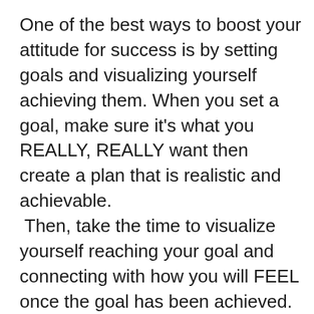One of the best ways to boost your attitude for success is by setting goals and visualizing yourself achieving them. When you set a goal, make sure it's what you REALLY, REALLY want then create a plan that is realistic and achievable.
  Then, take the time to visualize yourself reaching your goal and connecting with how you will FEEL once the goal has been achieved. What type of emotion will you feel once it is accomplished?
This only takes a few minutes and provides you with a great internal motivation. Do take this approach, it will...